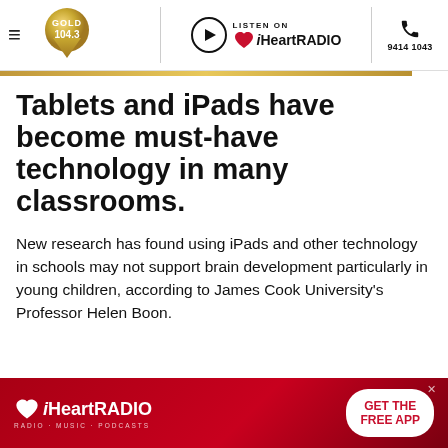GOLD 104.3 | LISTEN ON iHeartRADIO | 9414 1043
Tablets and iPads have become must-have technology in many classrooms.
New research has found using iPads and other technology in schools may not support brain development particularly in young children, according to James Cook University's Professor Helen Boon.
[Figure (advertisement): iHeartRADIO banner ad with red background, iHeart logo, and GET THE FREE APP call-to-action button]